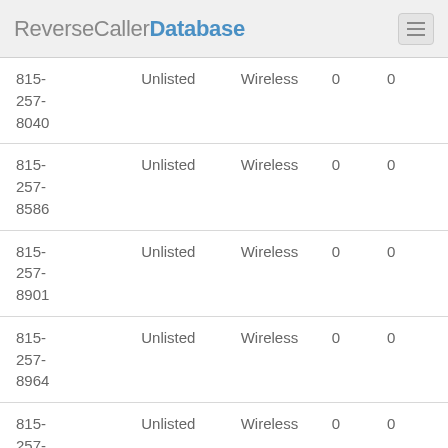ReverseCallerDatabase
| Phone | Listed Status | Type | Col4 | Col5 |
| --- | --- | --- | --- | --- |
| 815-257-8040 | Unlisted | Wireless | 0 | 0 |
| 815-257-8586 | Unlisted | Wireless | 0 | 0 |
| 815-257-8901 | Unlisted | Wireless | 0 | 0 |
| 815-257-8964 | Unlisted | Wireless | 0 | 0 |
| 815-257-8767 | Unlisted | Wireless | 0 | 0 |
| 815-257-... | Unlisted | Wireless | 0 | 0 |